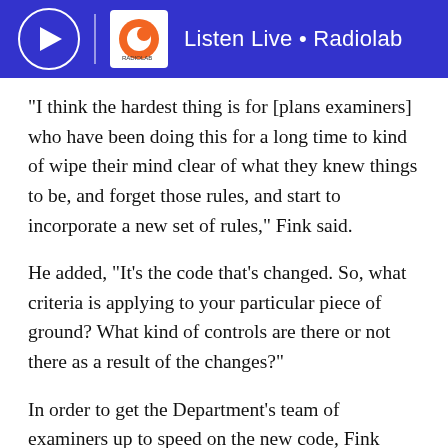Listen Live • Radiolab
“I think the hardest thing is for [plans examiners] who have been doing this for a long time to kind of wipe their mind clear of what they knew things to be, and forget those rules, and start to incorporate a new set of rules,” Fink said.
He added, “It’s the code that’s changed. So, what criteria is applying to your particular piece of ground? What kind of controls are there or not there as a result of the changes?”
In order to get the Department’s team of examiners up to speed on the new code, Fink said, they were sent to Zoning Code Training Sessions organized by the Citizens Planning Institute. Those sessions included two core courses on the basic tenets of the new code, and three elective courses.